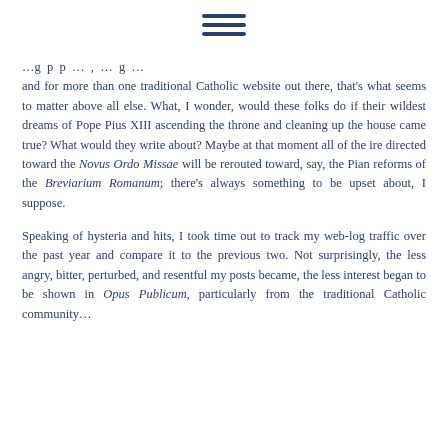≡
…g  p  p  …  ,  …  g  …  and for more than one traditional Catholic website out there, that's what seems to matter above all else. What, I wonder, would these folks do if their wildest dreams of Pope Pius XIII ascending the throne and cleaning up the house came true? What would they write about? Maybe at that moment all of the ire directed toward the Novus Ordo Missae will be rerouted toward, say, the Pian reforms of the Breviarium Romanum; there's always something to be upset about, I suppose.
Speaking of hysteria and hits, I took time out to track my web-log traffic over the past year and compare it to the previous two. Not surprisingly, the less angry, bitter, perturbed, and resentful my posts became, the less interest began to be shown in Opus Publicum, particularly from the traditional Catholic community…